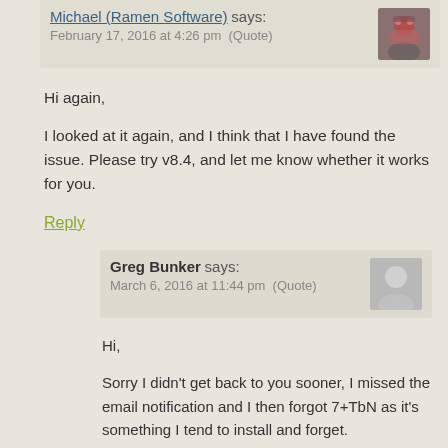Michael (Ramen Software) says: February 17, 2016 at 4:26 pm (Quote)
Hi again,
I looked at it again, and I think that I have found the issue. Please try v8.4, and let me know whether it works for you.
Reply
Greg Bunker says: March 6, 2016 at 11:44 pm (Quote)
Hi,
Sorry I didn't get back to you sooner, I missed the email notification and I then forgot 7+TbN as it's something I tend to install and forget.
I can confirm that it was working fine until I installed DisplayFusion which does do some